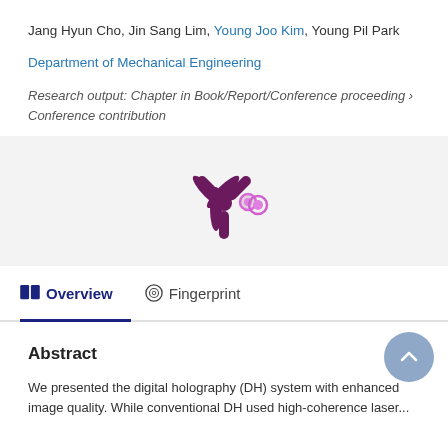Jang Hyun Cho, Jin Sang Lim, Young Joo Kim, Young Pil Park
Department of Mechanical Engineering
Research output: Chapter in Book/Report/Conference proceeding › Conference contribution
[Figure (logo): Stylized asterisk/snowflake logo in dark purple/maroon with a small pink circle, on a light gray background]
Overview   Fingerprint
Abstract
We presented the digital holography (DH) system with enhanced image quality. While conventional DH used high-coherence laser...